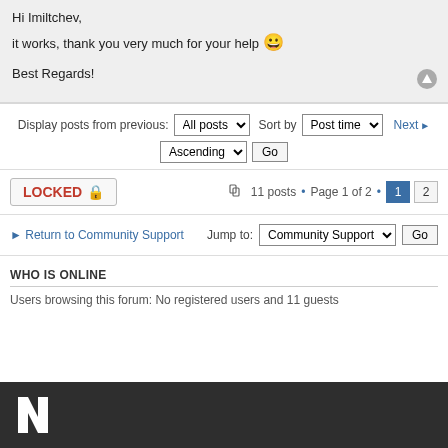Hi Imiltchev,
it works, thank you very much for your help 😀

Best Regards!
Display posts from previous: All posts ▼ Sort by Post time ▼ Next ▶
Ascending ▼ Go
LOCKED 🔒  11 posts • Page 1 of 2 • 1 2
◄ Return to Community Support  Jump to: Community Support ▼ Go
WHO IS ONLINE
Users browsing this forum: No registered users and 11 guests
[Figure (logo): White N logo on dark background footer]